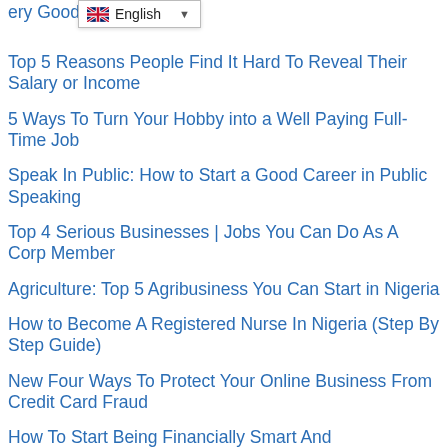[Figure (screenshot): Language selector dropdown showing UK flag and 'English' with dropdown arrow]
…ery Good Mentor
Top 5 Reasons People Find It Hard To Reveal Their Salary or Income
5 Ways To Turn Your Hobby into a Well Paying Full-Time Job
Speak In Public: How to Start a Good Career in Public Speaking
Top 4 Serious Businesses | Jobs You Can Do As A Corp Member
Agriculture: Top 5 Agribusiness You Can Start in Nigeria
How to Become A Registered Nurse In Nigeria (Step By Step Guide)
New Four Ways To Protect Your Online Business From Credit Card Fraud
How To Start Being Financially Smart And